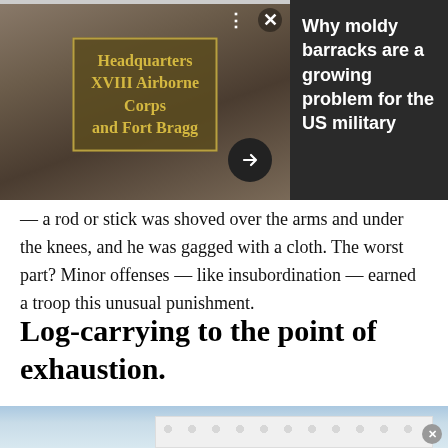[Figure (photo): Photo of a wooden sign reading 'Headquarters XVIII Airborne Corps and Fort Bragg', with two soldiers visible from behind. A dark sidebar panel shows text 'Why moldy barracks are a growing problem for the US military'. UI overlays include three-dots menu, X close button, and a dark circular arrow button.]
— a rod or stick was shoved over the arms and under the knees, and he was gagged with a cloth. The worst part? Minor offenses — like insubordination — earned a troop this unusual punishment.
Log-carrying to the point of exhaustion.
[Figure (photo): Bottom portion of an outdoor photo with sky, partially obscured by an advertisement overlay with a repeating circle pattern.]